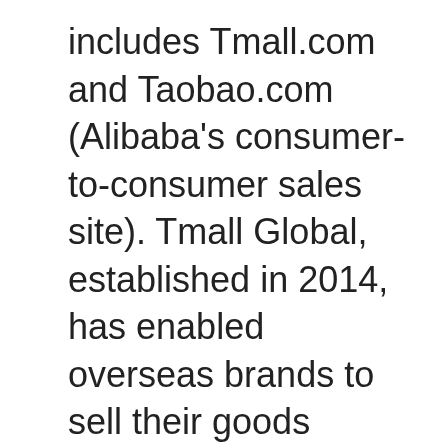includes Tmall.com and Taobao.com (Alibaba's consumer-to-consumer sales site). Tmall Global, established in 2014, has enabled overseas brands to sell their goods directly to savvy shoppers in China via the internet. At last year's G20 meeting, Alibaba forged collaboration with Canadian and Russian companies to expand its presence overseas.
Last year in March, Alibaba Group Holding Ltd became the world's largest retail platform as its